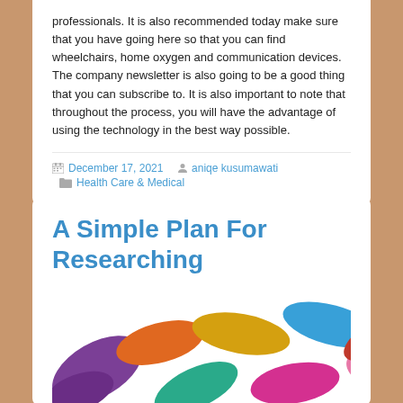professionals. It is also recommended today make sure that you have going here so that you can find wheelchairs, home oxygen and communication devices. The company newsletter is also going to be a good thing that you can subscribe to. It is also important to note that throughout the process, you will have the advantage of using the technology in the best way possible.
December 17, 2021   aniqe kusumawati   Health Care & Medical
A Simple Plan For Researching
[Figure (photo): Colorful rounded objects in various colors including purple, orange, yellow, teal, blue, pink arranged together]